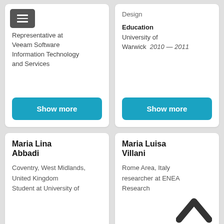Representative at Veeam Software Information Technology and Services
Design
Education
University of Warwick  2010 — 2011
Show more
Show more
Maria Lina Abbadi
Maria Luisa Villani
Coventry, West Midlands, United Kingdom
Student at University of
Rome Area, Italy
researcher at ENEA Research